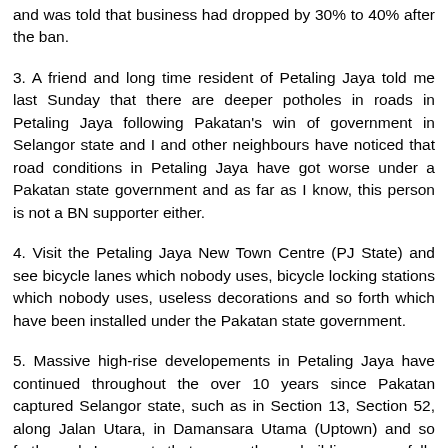and was told that business had dropped by 30% to 40% after the ban.
3. A friend and long time resident of Petaling Jaya told me last Sunday that there are deeper potholes in roads in Petaling Jaya following Pakatan's win of government in Selangor state and I and other neighbours have noticed that road conditions in Petaling Jaya have got worse under a Pakatan state government and as far as I know, this person is not a BN supporter either.
4. Visit the Petaling Jaya New Town Centre (PJ State) and see bicycle lanes which nobody uses, bicycle locking stations which nobody uses, useless decorations and so forth which have been installed under the Pakatan state government.
5. Massive high-rise developements in Petaling Jaya have continued throughout the over 10 years since Pakatan captured Selangor state, such as in Section 13, Section 52, along Jalan Utara, in Damansara Utama (Uptown) and so forth and I except that once these buildings are fully occupied, the traffic congestion in central Petaling Jaya will